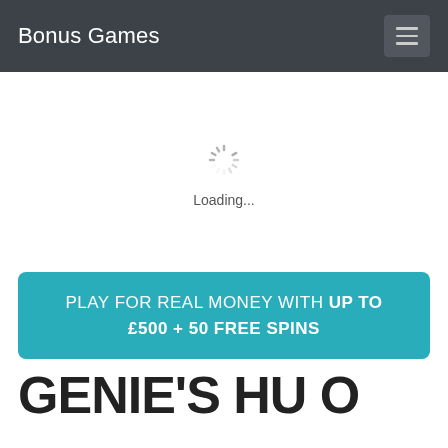Bonus Games
[Figure (other): Loading spinner animation centered on white background with 'Loading...' text below]
Loading...
PLAY FOR REAL MONEY WITH UP TO £500 + 50 FREE SPINS
GENIE'S HU O